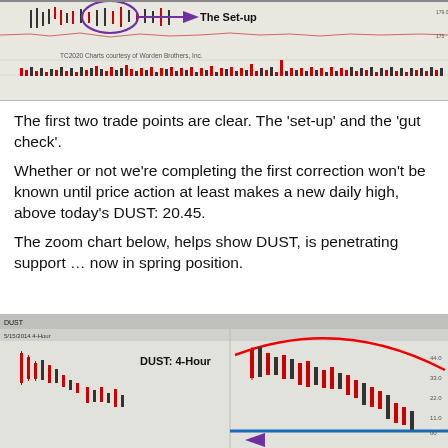[Figure (screenshot): Stock chart (TC2020) showing DUST price action with a circled 'Set-up' area annotated with a purple arrow and label 'The Set-up', plus volume bars and moving average indicators. Credit: TC2020 Charts courtesy of Worden Brothers, Inc.]
The first two trade points are clear. The 'set-up' and the 'gut check'.
Whether or not we're completing the first correction won't be known until price action at least makes a new daily high, above today's DUST: 20.45.
The zoom chart below, helps show DUST, is penetrating support … now in spring position.
[Figure (screenshot): DUST 4-Hour zoom candlestick chart showing price decline with a large red arc indicating a topping pattern, a blue horizontal support line, and a purple arrow pointing left indicating spring position.]